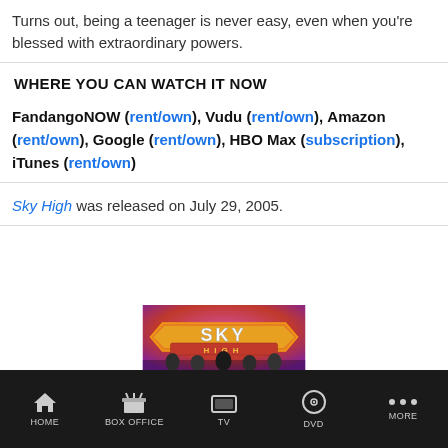Turns out, being a teenager is never easy, even when you're blessed with extraordinary powers.
WHERE YOU CAN WATCH IT NOW
FandangoNOW (rent/own), Vudu (rent/own), Amazon (rent/own), Google (rent/own), HBO Max (subscription), iTunes (rent/own)
Sky High was released on July 29, 2005.
[Figure (photo): Sky High movie poster showing title logo with students in background on pink/purple sky]
HOME   BOX OFFICE   TV   DVD   MORE